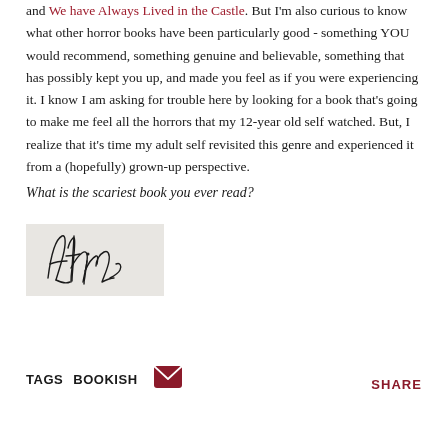and We have Always Lived in the Castle. But I'm also curious to know what other horror books have been particularly good - something YOU would recommend, something genuine and believable, something that has possibly kept you up, and made you feel as if you were experiencing it. I know I am asking for trouble here by looking for a book that's going to make me feel all the horrors that my 12-year old self watched. But, I realize that it's time my adult self revisited this genre and experienced it from a (hopefully) grown-up perspective.
What is the scariest book you ever read?
[Figure (illustration): A handwritten cursive signature reading 'Athira' on a light gray background box.]
TAGS BOOKISH   [email icon]   SHARE